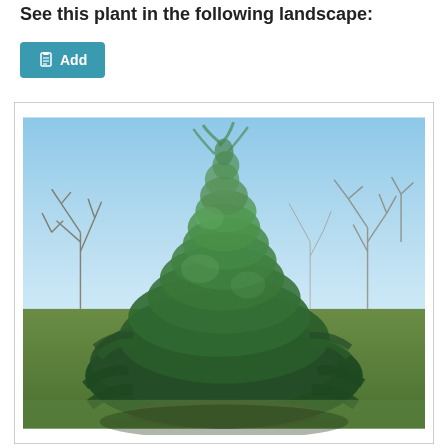See this plant in the following landscape:
[Figure (illustration): Button/link with clipboard icon labeled 'Add']
[Figure (photo): Outdoor landscape photograph showing a large, dense, weeping conifer tree (appears to be a cedar or juniper) with drooping branches and dark green foliage, set against a light blue winter sky with bare deciduous trees visible in the background and a grassy lawn area.]